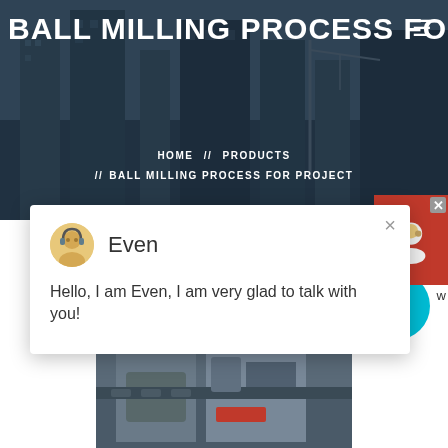BALL MILLING PROCESS FOR PR
[Figure (screenshot): Website screenshot showing a construction site background with tall buildings and cranes]
HOME // PRODUCTS // BALL MILLING PROCESS FOR PROJECT
[Figure (screenshot): Chat popup with avatar of Even saying: Hello, I am Even, I am very glad to talk with you!]
Even
Hello, I am Even, I am very glad to talk with you!
[Figure (photo): Industrial ball milling machine equipment in a factory setting]